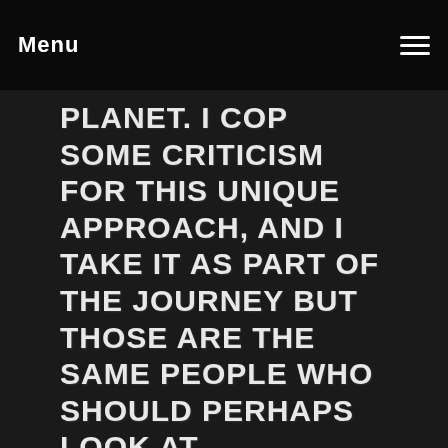Menu
PLANET. I COP SOME CRITICISM FOR THIS UNIQUE APPROACH, AND I TAKE IT AS PART OF THE JOURNEY BUT THOSE ARE THE SAME PEOPLE WHO SHOULD PERHAPS LOOK AT THEMSELVES BEFORE JUDGING OTHERS. I NEVER EXPECT A MEDAL OR WHATEVER FOR WHAT I DO. Seriously. I just feel grateful knowing I WORK EXTREMELY HARD TO